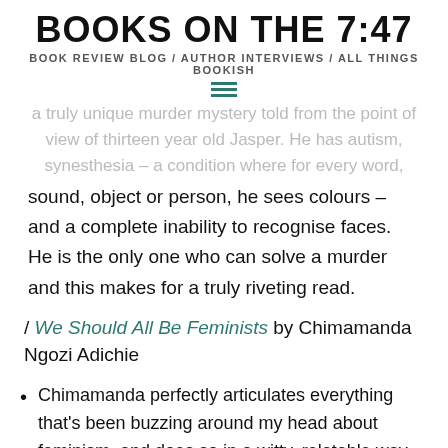BOOKS ON THE 7:47
BOOK REVIEW BLOG / AUTHOR INTERVIEWS / ALL THINGS BOOKISH
a truly unique murder mystery told from the point of view of thirteen year old Jasper. He has autism, synesthesia – a condition where for every word,
sound, object or person, he sees colours – and a complete inability to recognise faces. He is the only one who can solve a murder and this makes for a truly riveting read.
/ We Should All Be Feminists by Chimamanda Ngozi Adichie
Chimamanda perfectly articulates everything that's been buzzing around my head about feminism, and does so in a witty, relatable way.